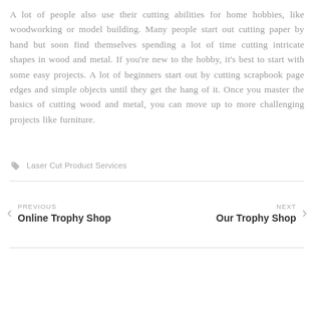A lot of people also use their cutting abilities for home hobbies, like woodworking or model building. Many people start out cutting paper by hand but soon find themselves spending a lot of time cutting intricate shapes in wood and metal. If you're new to the hobby, it's best to start with some easy projects. A lot of beginners start out by cutting scrapbook page edges and simple objects until they get the hang of it. Once you master the basics of cutting wood and metal, you can move up to more challenging projects like furniture.
Laser Cut Product Services
PREVIOUS Online Trophy Shop | NEXT Our Trophy Shop